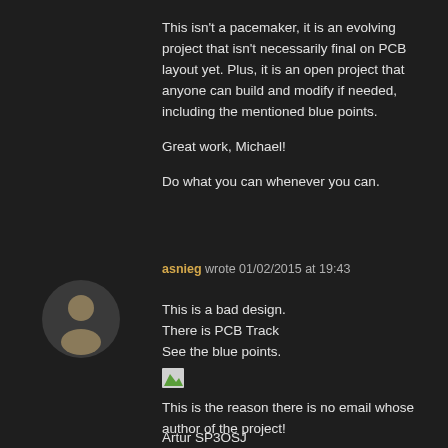This isn't a pacemaker, it is an evolving project that isn't necessarily final on PCB layout yet. Plus, it is an open project that anyone can build and modify if needed, including the mentioned blue points.

Great work, Michael!

Do what you can whenever you can.
asnieg wrote 01/02/2015 at 19:43
[Figure (other): User avatar: dark circle with silhouette of a person in brownish/tan color]
This is a bad design.
There is PCB Track
See the blue points.
[Figure (photo): Broken/missing image placeholder with small green triangle icon]
This is the reason there is no email whose author of the project!

Artur SP3OSJ